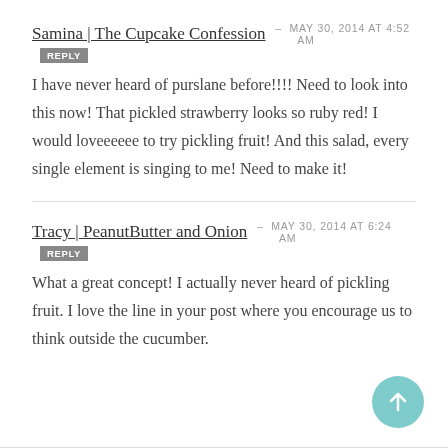Samina | The Cupcake Confession – MAY 30, 2014 at 4:52 AM  REPLY
I have never heard of purslane before!!!! Need to look into this now! That pickled strawberry looks so ruby red! I would loveeeeee to try pickling fruit! And this salad, every single element is singing to me! Need to make it!
Tracy | PeanutButter and Onion – MAY 30, 2014 at 6:24 AM  REPLY
What a great concept! I actually never heard of pickling fruit. I love the line in your post where you encourage us to think outside the cucumber.